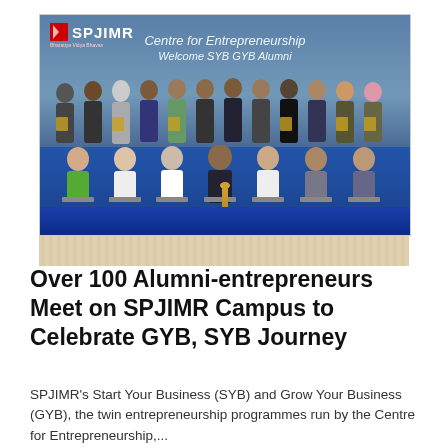[Figure (photo): Group photo of over 100 alumni-entrepreneurs on stage at SPJIMR campus. A banner in the background reads 'Centre for Entrepreneurship' and 'Welcome SYB GYB Alumni'. Participants are seated and standing in rows, many holding award plaques. The SPJIMR logo is visible top-left. A traditional lamp (diya) is placed on the stage floor.]
Over 100 Alumni-entrepreneurs Meet on SPJIMR Campus to Celebrate GYB, SYB Journey
SPJIMR's Start Your Business (SYB) and Grow Your Business (GYB), the twin entrepreneurship programmes run by the Centre for Entrepreneurship,...